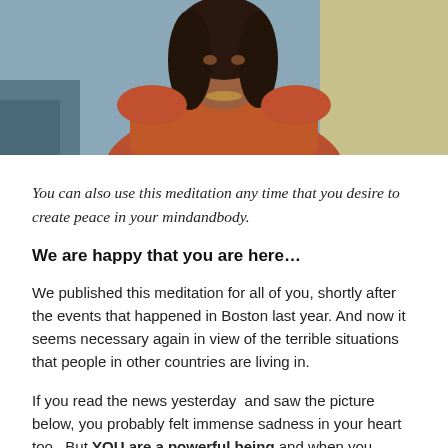[Figure (photo): A woman wearing a red/orange top and necklace, seated, with a neutral background visible behind her. Screenshot or video still.]
You can also use this meditation any time that you desire to create peace in your mindandbody.
We are happy that you are here…
We published this meditation for all of you, shortly after the events that happened in Boston last year. And now it seems necessary again in view of the terrible situations that people in other countries are living in.
If you read the news yesterday  and saw the picture below, you probably felt immense sadness in your heart too.  But YOU are a powerful being and when you release your fears and create peace in your mindandbody, you are